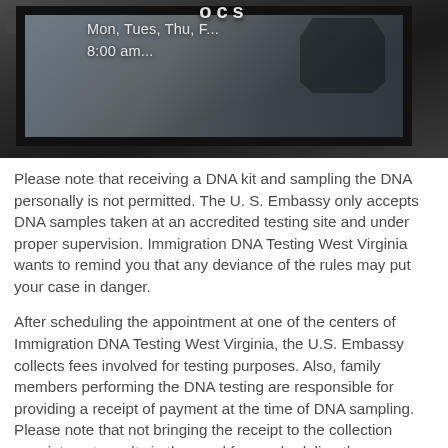[Figure (photo): Photo of a glass window/door with text 'Mon, Tues, Thu, F...' and '8:00 am...' written in white on the glass. Dark reflections visible. Partial letters 'ocs' visible at top.]
Please note that receiving a DNA kit and sampling the DNA personally is not permitted. The U. S. Embassy only accepts DNA samples taken at an accredited testing site and under proper supervision. Immigration DNA Testing West Virginia wants to remind you that any deviance of the rules may put your case in danger.
After scheduling the appointment at one of the centers of Immigration DNA Testing West Virginia, the U.S. Embassy collects fees involved for testing purposes. Also, family members performing the DNA testing are responsible for providing a receipt of payment at the time of DNA sampling. Please note that not bringing the receipt to the collection appointment results in the need for rescheduling the collection.